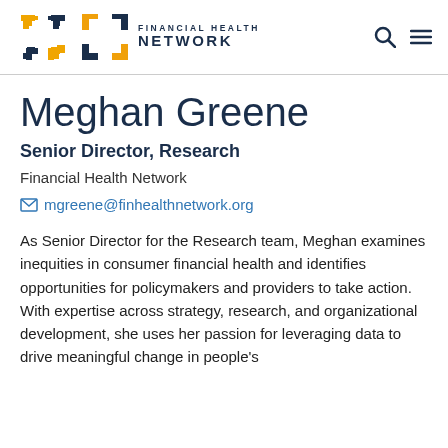[Figure (logo): Financial Health Network logo with colorful arrow icon and text]
Meghan Greene
Senior Director, Research
Financial Health Network
mgreene@finhealthnetwork.org
As Senior Director for the Research team, Meghan examines inequities in consumer financial health and identifies opportunities for policymakers and providers to take action. With expertise across strategy, research, and organizational development, she uses her passion for leveraging data to drive meaningful change in people's